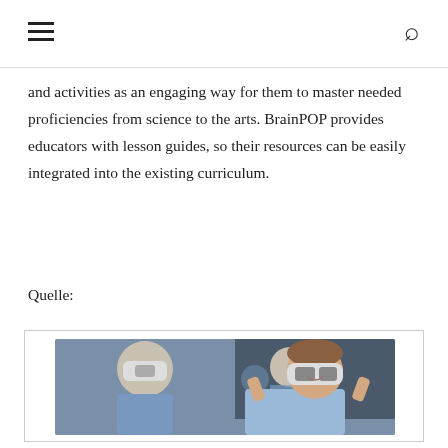and activities as an engaging way for them to master needed proficiencies from science to the arts. BrainPOP provides educators with lesson guides, so their resources can be easily integrated into the existing curriculum.
Quelle:
[Figure (photo): Students in a classroom wearing VR headsets; a smiling girl in a light blue shirt holds a VR headset to her face in the foreground, another student in a blue shirt is visible in the background.]